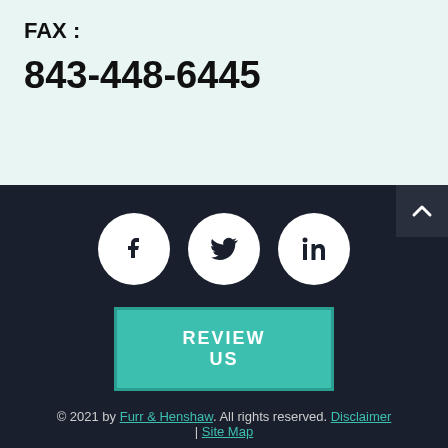FAX :
843-448-6445
[Figure (illustration): Three social media icon circles (Facebook, Twitter, LinkedIn) with white backgrounds on dark background]
REVIEW US
© 2021 by Furr & Henshaw. All rights reserved. Disclaimer | Site Map